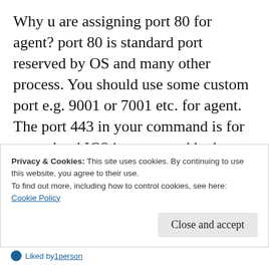Why u are assigning port 80 for agent? port 80 is standard port reserved by OS and many other process. You should use some custom port e.g. 9001 or 7001 etc. for agent. The port 443 in your command is for your cloud ICS instance and had no relation with your agent port number. 443 is the right port which you need to use while connecting ICS instance. However, for agent port if you use any custom unused port then I hope your problem will be sorted out. Try this and let me know if stil not
Privacy & Cookies: This site uses cookies. By continuing to use this website, you agree to their use.
To find out more, including how to control cookies, see here:
Cookie Policy
Liked by 1person